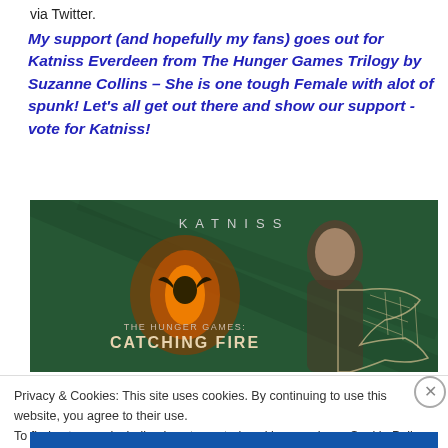via Twitter.
My support (and hopefully my fans) goes out for Katniss Everdeen from The Hunger Games Trilogy by Suzanne Collins  – She is one tough Female with alot of spunk!  Let’s all get out there and show our support -vote for Katniss!
[Figure (photo): Movie promotional banner for The Hunger Games: Catching Fire showing Katniss with text 'KATNISS' at top and 'THE HUNGER GAMES: CATCHING FIRE' with mockingjay logo on dark green background]
Privacy & Cookies: This site uses cookies. By continuing to use this website, you agree to their use.
To find out more, including how to control cookies, see here: Cookie Policy
Close and accept